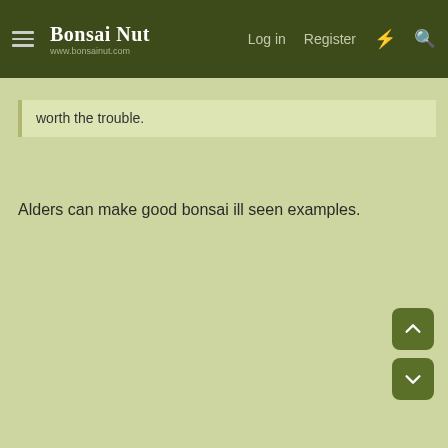Bonsai Nut — www.bonsainut.com | Log in | Register
worth the trouble.
Alders can make good bonsai ill seen examples.